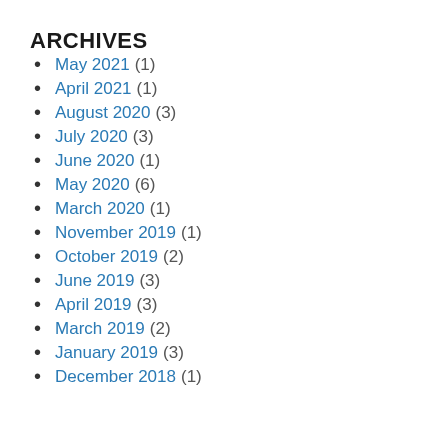ARCHIVES
May 2021 (1)
April 2021 (1)
August 2020 (3)
July 2020 (3)
June 2020 (1)
May 2020 (6)
March 2020 (1)
November 2019 (1)
October 2019 (2)
June 2019 (3)
April 2019 (3)
March 2019 (2)
January 2019 (3)
December 2018 (1)